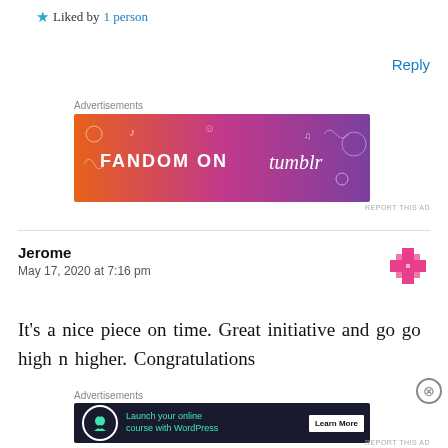★ Liked by 1person
Reply
Advertisements
[Figure (illustration): Fandom on Tumblr advertisement banner with orange-to-purple gradient background and decorative doodles]
REPORT THIS AD
Jerome
May 17, 2020 at 7:16 pm
[Figure (illustration): Pink pixelated flower/snowflake avatar icon]
It's a nice piece on time. Great initiative and go go high n higher. Congratulations
Advertisements
[Figure (illustration): Dark advertisement banner: Launch your online course with WordPress — Learn More]
REPORT THIS AD